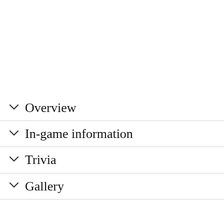Overview
In-game information
Trivia
Gallery